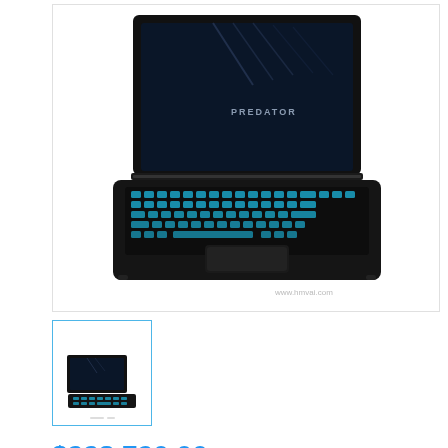[Figure (photo): Acer Predator gaming laptop with blue RGB keyboard backlight, open and viewed from above at an angle. Watermark: www.hmvai.com]
[Figure (photo): Thumbnail image of the same Acer Predator gaming laptop, smaller view]
$228,790.00
Variant:
Brand: Acer